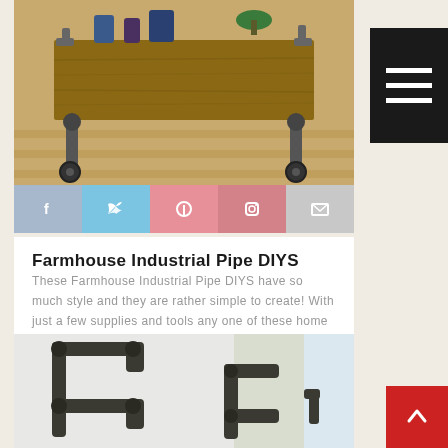[Figure (photo): Photo of a rustic farmhouse industrial pipe cart/table with wooden shelf on casters, sitting on light wood flooring]
[Figure (infographic): Social media share buttons bar: Facebook (blue-grey), Twitter (light blue), Pinterest (pink-red), Instagram (dark pink), Email (grey)]
Farmhouse Industrial Pipe DIYS
These Farmhouse Industrial Pipe DIYS have so much style and they are rather simple to create! With just a few supplies and tools any one of these home decor creations can be yours within hours!
[Figure (photo): Photo of industrial black pipe shelving brackets mounted on a white wall, forming an L-shaped pipe shelf frame]